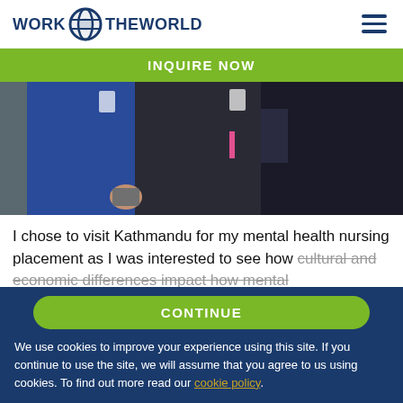WORK THE WORLD
INQUIRE NOW
[Figure (photo): Three people wearing scrubs and lanyards/ID badges standing together, torsos visible only]
I chose to visit Kathmandu for my mental health nursing placement as I was interested to see how cultural and economic differences impact how mental
CONTINUE
We use cookies to improve your experience using this site. If you continue to use the site, we will assume that you agree to us using cookies. To find out more read our cookie policy.